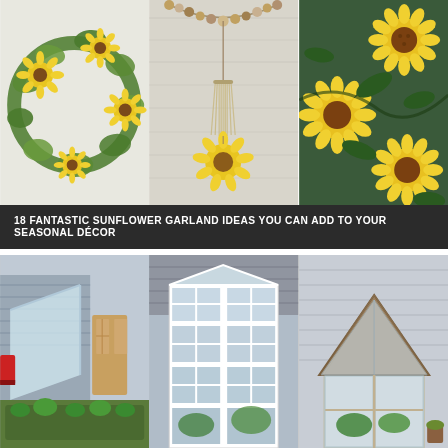[Figure (photo): Three-panel collage of sunflower garland ideas: left panel shows a sunflower wreath/garland with green foliage, center panel shows a beaded garland with tassel and sunflower pendant on a whitewashed wood background, right panel shows crocheted sunflowers arranged as garland]
18 FANTASTIC SUNFLOWER GARLAND IDEAS YOU CAN ADD TO YOUR SEASONAL DÉCOR
[Figure (photo): Three-panel collage of greenhouse/cold frame ideas: left panel shows a plastic-covered cold frame lean-to against a house with raised garden beds, center panel shows a greenhouse built from old window frames with glass panels, right panel shows a small wooden-frame glass greenhouse with plants inside next to a house]